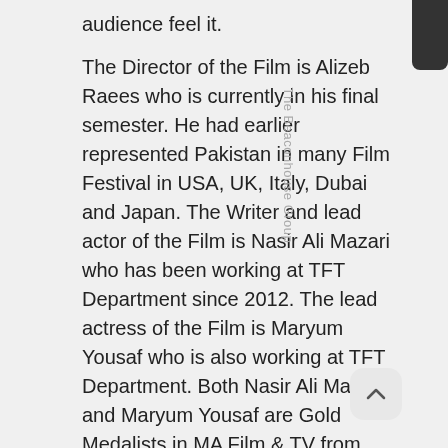audience feel it.
The Director of the Film is Alizeb Raees who is currently in his final semester. He had earlier represented Pakistan in many Film Festival in USA, UK, Italy, Dubai and Japan. The Writer and lead actor of the Film is Nasir Ali Mazari who has been working at TFT Department since 2012. The lead actress of the Film is Maryum Yousaf who is also working at TFT Department. Both Nasir Ali Mazari and Maryum Yousaf are Gold Medalists in MA Film & TV from Beaconhouse National University. Other production members of the film including Azeem Amin, Talal Khalid, Usman Ashraf, Momna Tariq and Rub Nawaz are also doing MS Film & TV from BNU.
The Dean of School of Media and Mass Communication Prof. Dr. Taimur-ul-Hassan and The Head of TFT Department Qazi Abbas Ahmad...